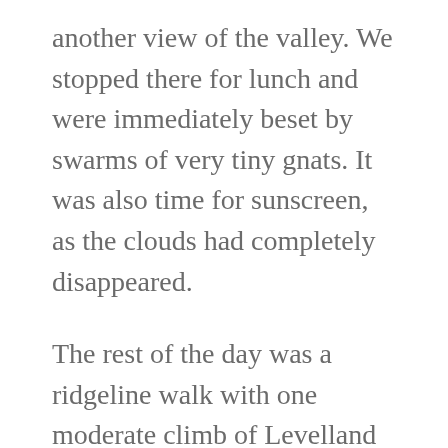another view of the valley. We stopped there for lunch and were immediately beset by swarms of very tiny gnats. It was also time for sunscreen, as the clouds had completely disappeared.
The rest of the day was a ridgeline walk with one moderate climb of Levelland Mountain, which really was remarkably flat on top. We ended the day descending into Neels Gap. We met a lot of unhappy-looking hikers along this stretch, maybe because there wasn't much water, it was hot, and a lot of people were sick. We had